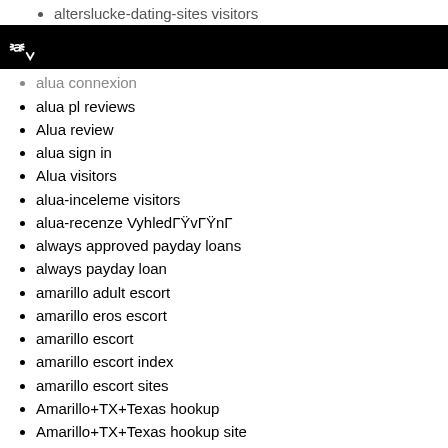alterslucke-dating-sites visitors
[Figure (other): Black navigation bar with white terminal/cursor icon (C with down arrow)]
alua connexion
alua pl reviews
Alua review
alua sign in
Alua visitors
alua-inceleme visitors
alua-recenze VyhledГŸvГŸnГ
always approved payday loans
always payday loan
amarillo adult escort
amarillo eros escort
amarillo escort
amarillo escort index
amarillo escort sites
Amarillo+TX+Texas hookup
Amarillo+TX+Texas hookup site
Amarillo+TX+Texas hookup sites
Amarillo+TX+Texas review
Amateurcommunity hookup sites
amateurmatch ?berpr?fung
amateurmatch app
amateurmatch app di incontri
Amateurmatch dating